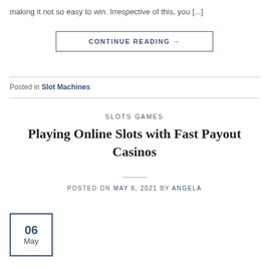making it not so easy to win. Irrespective of this, you [...]
CONTINUE READING →
Posted in Slot Machines
SLOTS GAMES
Playing Online Slots with Fast Payout Casinos
POSTED ON MAY 6, 2021 BY ANGELA
06 May